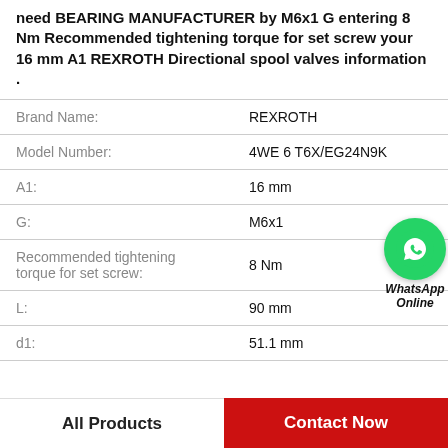need BEARING MANUFACTURER by M6x1 G entering 8 Nm Recommended tightening torque for set screw your 16 mm A1 REXROTH Directional spool valves information .
| Property | Value |
| --- | --- |
| Brand Name: | REXROTH |
| Model Number: | 4WE 6 T6X/EG24N9K |
| A1: | 16 mm |
| G: | M6x1 |
| Recommended tightening torque for set screw: | 8 Nm |
| L: | 90 mm |
| d1: | 51.1 mm |
[Figure (logo): WhatsApp Online green circle icon with phone handset, with italic bold text 'WhatsApp Online' below]
All Products   Contact Now